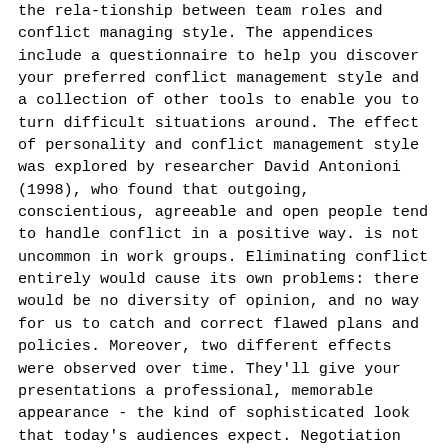the rela-tionship between team roles and conflict managing style. The appendices include a questionnaire to help you discover your preferred conflict management style and a collection of other tools to enable you to turn difficult situations around. The effect of personality and conflict management style was explored by researcher David Antonioni (1998), who found that outgoing, conscientious, agreeable and open people tend to handle conflict in a positive way. is not uncommon in work groups. Eliminating conflict entirely would cause its own problems: there would be no diversity of opinion, and no way for us to catch and correct flawed plans and policies. Moreover, two different effects were observed over time. They'll give your presentations a professional, memorable appearance - the kind of sophisticated look that today's audiences expect. Negotiation Styles Understanding the Five Negotiation Styles People often ask "which is the best negotiation style?" Conflict management involves acquiring skills related to conflict resolution, self- awareness about conflict modes, conflict communication skills, and establishing a structure for management of conflict in organizational environment. As with much management theory there is no single 'best'...